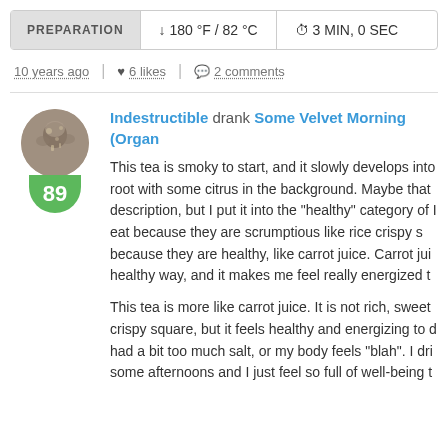PREPARATION  180 °F / 82 °C  3 MIN, 0 SEC
10 years ago | 6 likes | 2 comments
Indestructible drank Some Velvet Morning (Organ...
This tea is smoky to start, and it slowly develops into root with some citrus in the background. Maybe that description, but I put it into the "healthy" category of I eat because they are scrumptious like rice crispy s because they are healthy, like carrot juice. Carrot jui healthy way, and it makes me feel really energized t
This tea is more like carrot juice. It is not rich, sweet crispy square, but it feels healthy and energizing to d had a bit too much salt, or my body feels "blah". I dri some afternoons and I just feel so full of well-being t